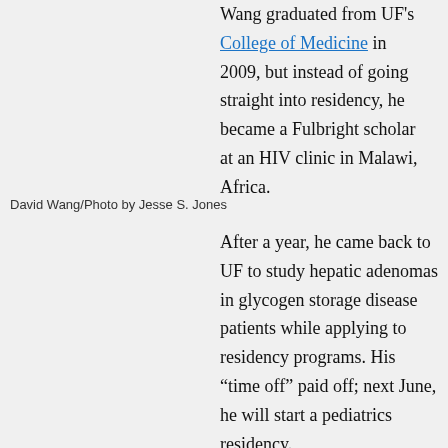Wang graduated from UF's College of Medicine in 2009, but instead of going straight into residency, he became a Fulbright scholar at an HIV clinic in Malawi, Africa.
David Wang/Photo by Jesse S. Jones
After a year, he came back to UF to study hepatic adenomas in glycogen storage disease patients while applying to residency programs. His “time off” paid off; next June, he will start a pediatrics residency.
“I wanted to expand my understanding of global health and the practice of medicine at a fundamental level in poor resource settings,” he explained.
In Malawi, where one in seven people have AIDS, he counseled